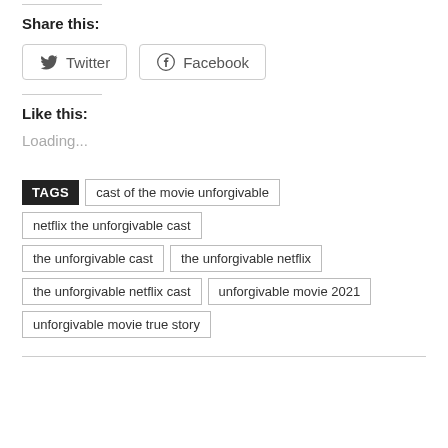Share this:
[Figure (other): Social share buttons for Twitter and Facebook]
Like this:
Loading...
TAGS  cast of the movie unforgivable  netflix the unforgivable cast  the unforgivable cast  the unforgivable netflix  the unforgivable netflix cast  unforgivable movie 2021  unforgivable movie true story